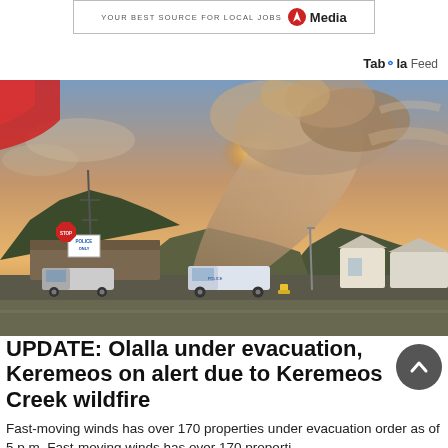[Figure (other): Advertisement banner: 'YOUR BEST SOURCE FOR LOCAL JOBS' with a bird logo and 'Media' text, in a bordered box]
Taboola Feed
[Figure (photo): Wildfire smoke cloud rising above mountains near Keremeos. Emergency vehicles and a police station visible in foreground at dusk/sunset.]
UPDATE: Olalla under evacuation, Keremeos on alert due to Keremeos Creek wildfire
Fast-moving winds has over 170 properties under evacuation order as of 5 p.m. Fast-moving winds has over 170 properti...